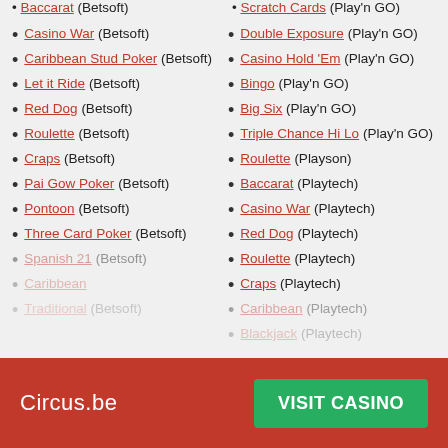Baccarat (Betsoft)
Casino War (Betsoft)
Caribbean Stud Poker (Betsoft)
Let it Ride (Betsoft)
Red Dog (Betsoft)
Roulette (Betsoft)
Craps (Betsoft)
Pai Gow Poker (Betsoft)
Pontoon (Betsoft)
Three Card Poker (Betsoft)
Spanish 21 (Betsoft)
Scratch Cards (Play'n GO)
Double Exposure (Play'n GO)
Casino Hold 'Em (Play'n GO)
Bingo (Play'n GO)
Big Six (Play'n GO)
Triple Chance Hi Lo (Play'n GO)
Roulette (Playson)
Baccarat (Playtech)
Casino War (Playtech)
Red Dog (Playtech)
Roulette (Playtech)
Craps (Playtech)
Circus.be  VISIT CASINO